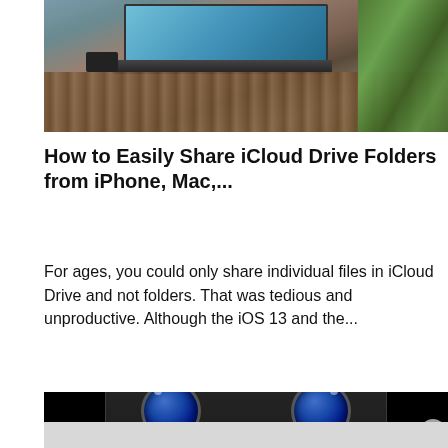[Figure (photo): Photo of a laptop computer on a wicker/rattan table outdoors, with green foliage in background and a wine glass visible. The laptop screen shows a blue display.]
How to Easily Share iCloud Drive Folders from iPhone, Mac,...
For ages, you could only share individual files in iCloud Drive and not folders. That was tedious and unproductive. Although the iOS 13 and the...
[Figure (photo): Close-up photo of a smartphone dual-camera module with two blue lenses on a black background, with a circular close (X) button in the lower right. Below is a gray/silver area (advertisement strip).]